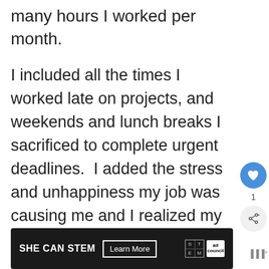many hours I worked per month.
I included all the times I worked late on projects, and weekends and lunch breaks I sacrificed to complete urgent deadlines.  I added the stress and unhappiness my job was causing me and I realized my hourly rate wasn't as high as I thought it was and it made the transition easier.
[Figure (other): Social interaction buttons: a blue circular like/heart button with count of 1, and a share button below it]
[Figure (other): Advertisement banner: black background with 'SHE CAN STEM' text, 'Learn More' button, STEM grid logo, and Ad Council logo. A muted audio icon appears to the right.]